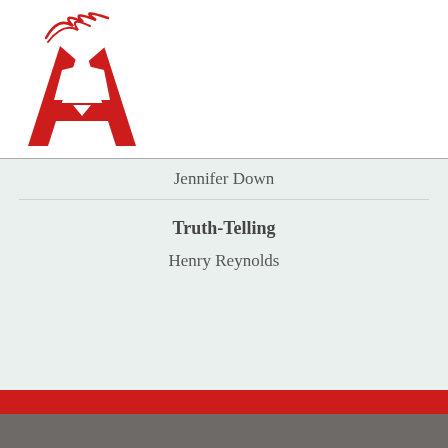[Figure (logo): Avid Reader Press logo — red stylized letter A with flame/wave above]
Jennifer Down
Truth-Telling
Henry Reynolds
AVID NEWSLETTER
Enter your email address
SIGN UP